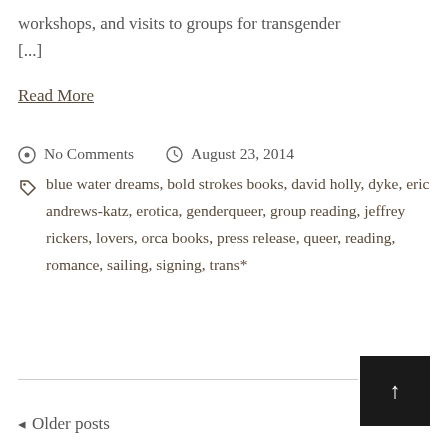workshops, and visits to groups for transgender [...]
Read More
No Comments   August 23, 2014
blue water dreams, bold strokes books, david holly, dyke, eric andrews-katz, erotica, genderqueer, group reading, jeffrey rickers, lovers, orca books, press release, queer, reading, romance, sailing, signing, trans*
Older posts